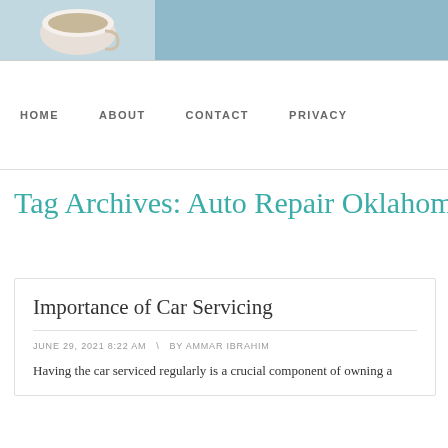[Figure (photo): Website header banner with coffee cup image on left and teal/blue gradient on right]
HOME   ABOUT   CONTACT   PRIVACY
Tag Archives: Auto Repair Oklahoma Ci
Importance of Car Servicing
JUNE 29, 2021 8:22 AM  \  BY AMMAR IBRAHIM
Having the car serviced regularly is a crucial component of owning a...